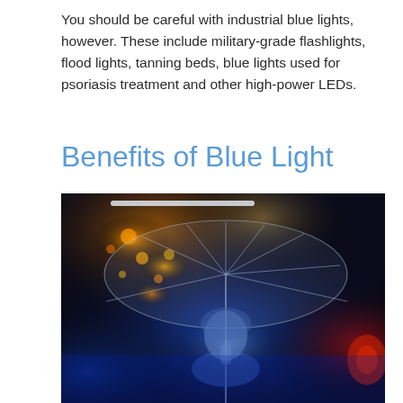You should be careful with industrial blue lights, however. These include military-grade flashlights, flood lights, tanning beds, blue lights used for psoriasis treatment and other high-power LEDs.
Benefits of Blue Light
[Figure (photo): A woman holding a transparent umbrella under blue and orange neon lights at night, lit predominantly in blue tones.]